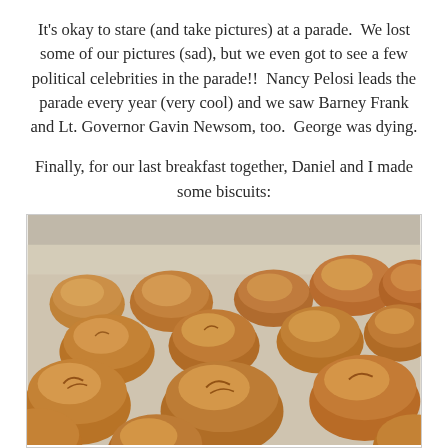It's okay to stare (and take pictures) at a parade.  We lost some of our pictures (sad), but we even got to see a few political celebrities in the parade!!  Nancy Pelosi leads the parade every year (very cool) and we saw Barney Frank and Lt. Governor Gavin Newsom, too.  George was dying.
Finally, for our last breakfast together, Daniel and I made some biscuits:
[Figure (photo): A tray of homemade biscuits on parchment paper, photographed close-up. Multiple golden-brown biscuits are visible, irregular in shape, arranged on what appears to be a baking sheet lined with white parchment. The biscuits are close together and fill the frame.]